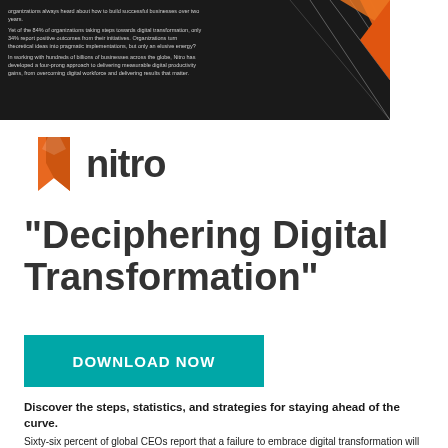[Figure (screenshot): Dark background promotional banner with small white text blocks on left and orange geometric graphic lines on right, showing a digital transformation report preview]
[Figure (logo): Nitro logo: orange flame/bookmark icon on left with dark gray 'nitro' wordmark text]
"Deciphering Digital Transformation"
DOWNLOAD NOW
Discover the steps, statistics, and strategies for staying ahead of the curve.
Sixty-six percent of global CEOs report that a failure to embrace digital transformation will damage their organization's ability to